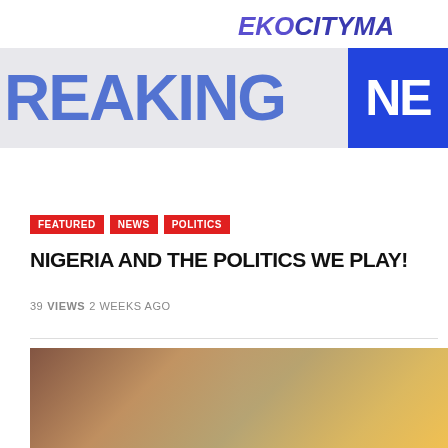[Figure (logo): EkoCityMag logo in italic bold blue/purple text, partially cropped on right]
[Figure (photo): Breaking News banner image with large blue text 'REAKING' on grey background and 'NE' in white on blue box, partially cropped]
FEATURED  NEWS  POLITICS
NIGERIA AND THE POLITICS WE PLAY!
39 VIEWS 2 WEEKS AGO
[Figure (photo): Partial photo of a person at the bottom of the page, warm brown/gold tones]